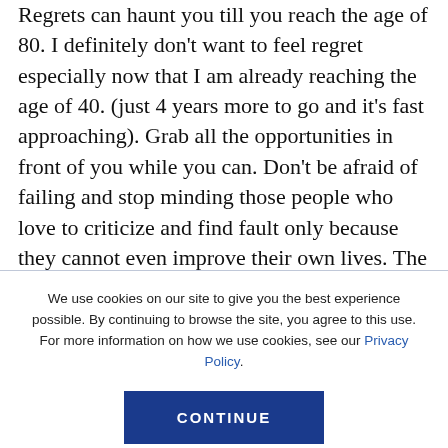Regrets can haunt you till you reach the age of 80. I definitely don't want to feel regret especially now that I am already reaching the age of 40. (just 4 years more to go and it's fast approaching). Grab all the opportunities in front of you while you can. Don't be afraid of failing and stop minding those people who love to criticize and find fault only because they cannot even improve their own lives. The purpose of life is knowing the kind of happiness that you want. Live your life for yourself and not for others.
We use cookies on our site to give you the best experience possible. By continuing to browse the site, you agree to this use. For more information on how we use cookies, see our Privacy Policy.
CONTINUE